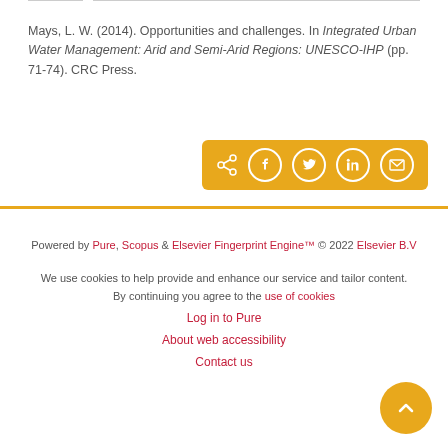Mays, L. W. (2014). Opportunities and challenges. In Integrated Urban Water Management: Arid and Semi-Arid Regions: UNESCO-IHP (pp. 71-74). CRC Press.
[Figure (other): Share bar with social media icons (Facebook, Twitter, LinkedIn, Email) on orange/gold background]
Powered by Pure, Scopus & Elsevier Fingerprint Engine™ © 2022 Elsevier B.V
We use cookies to help provide and enhance our service and tailor content. By continuing you agree to the use of cookies
Log in to Pure
About web accessibility
Contact us